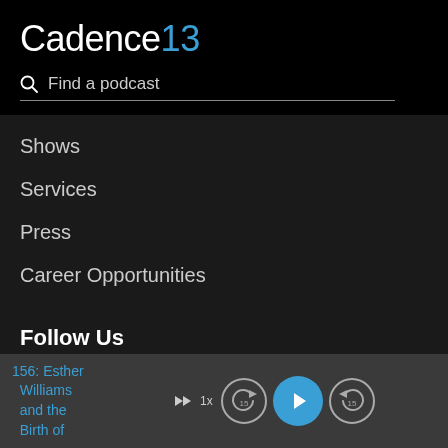Cadence13
Find a podcast
Shows
Services
Press
Career Opportunities
Follow Us
[Figure (infographic): Four social media icons: Facebook, Twitter, Instagram, LinkedIn — rounded square buttons in gray]
156: Esther Williams and the Birth of [...]  ►► 1x  [15 back] [play] [15 forward]